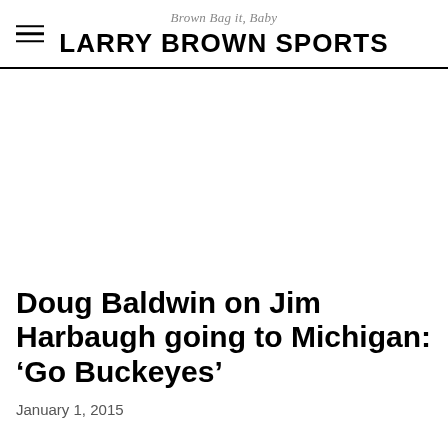Brown Bag it, Baby
LARRY BROWN SPORTS
Doug Baldwin on Jim Harbaugh going to Michigan: ‘Go Buckeyes’
January 1, 2015